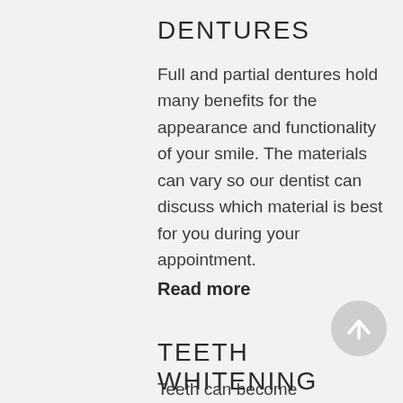DENTURES
Full and partial dentures hold many benefits for the appearance and functionality of your smile. The materials can vary so our dentist can discuss which material is best for you during your appointment.
Read more
TEETH WHITENING
Teeth can become discoloured from eating sugar, drinking caffeine,